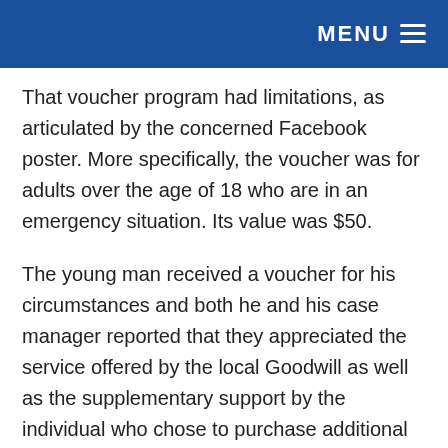MENU
That voucher program had limitations, as articulated by the concerned Facebook poster. More specifically, the voucher was for adults over the age of 18 who are in an emergency situation. Its value was $50.
The young man received a voucher for his circumstances and both he and his case manager reported that they appreciated the service offered by the local Goodwill as well as the supplementary support by the individual who chose to purchase additional clothing for him.
Each Goodwill organization has different programs based on various needs of the community. Collectively, local community-based Goodwill...